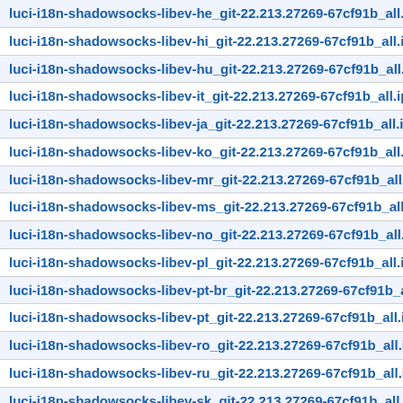luci-i18n-shadowsocks-libev-he_git-22.213.27269-67cf91b_all.ipk
luci-i18n-shadowsocks-libev-hi_git-22.213.27269-67cf91b_all.ipk
luci-i18n-shadowsocks-libev-hu_git-22.213.27269-67cf91b_all.ipk
luci-i18n-shadowsocks-libev-it_git-22.213.27269-67cf91b_all.ipk
luci-i18n-shadowsocks-libev-ja_git-22.213.27269-67cf91b_all.ipk
luci-i18n-shadowsocks-libev-ko_git-22.213.27269-67cf91b_all.ipk
luci-i18n-shadowsocks-libev-mr_git-22.213.27269-67cf91b_all.ipk
luci-i18n-shadowsocks-libev-ms_git-22.213.27269-67cf91b_all.ipk
luci-i18n-shadowsocks-libev-no_git-22.213.27269-67cf91b_all.ipk
luci-i18n-shadowsocks-libev-pl_git-22.213.27269-67cf91b_all.ipk
luci-i18n-shadowsocks-libev-pt-br_git-22.213.27269-67cf91b_all.ipk
luci-i18n-shadowsocks-libev-pt_git-22.213.27269-67cf91b_all.ipk
luci-i18n-shadowsocks-libev-ro_git-22.213.27269-67cf91b_all.ipk
luci-i18n-shadowsocks-libev-ru_git-22.213.27269-67cf91b_all.ipk
luci-i18n-shadowsocks-libev-sk_git-22.213.27269-67cf91b_all.ipk
luci-i18n-shadowsocks-libev-sv_git-22.213.27269-67cf91b_all.ipk
luci-i18n-shadowsocks-libev-tr_git-22.213.27269-67cf91b_all.ipk
luci-i18n-shadowsocks-libev-uk_git-22.213.27269-67cf91b_all.ipk
luci-i18n-shadowsocks-libev-vi_git-22.213.27269-67cf91b_all.ipk
luci-i18n-shadowsocks-libev-zh-cn_git-22.213.27269-67cf91b_all.ipk